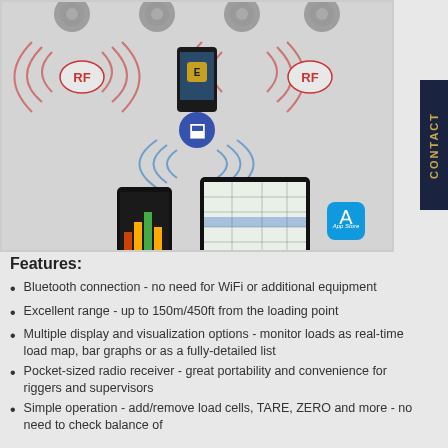[Figure (infographic): Wireless load cell system diagram showing RF transmitters at the top connected to a central mobile device via RF signals, with Bluetooth connectivity to smartphones and a tablet displaying weighing software (Dini Engineering). An App Store icon is visible at bottom right.]
Features:
Bluetooth connection - no need for WiFi or additional equipment
Excellent range - up to 150m/450ft from the loading point
Multiple display and visualization options - monitor loads as real-time load map, bar graphs or as a fully-detailed list
Pocket-sized radio receiver - great portability and convenience for riggers and supervisors
Simple operation - add/remove load cells, TARE, ZERO and more - no need to check balance of...